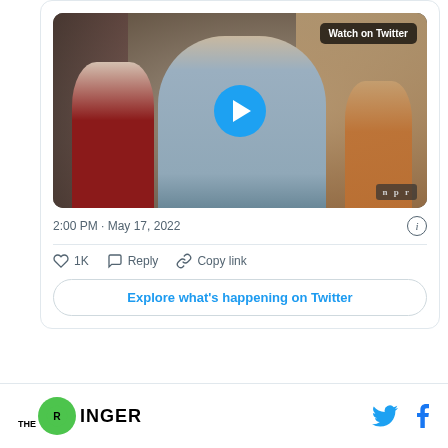[Figure (screenshot): Embedded Twitter/X video thumbnail showing a person in a blue sweater performing at an NPR Tiny Desk concert, with a play button overlay and 'Watch on Twitter' badge, followed by tweet metadata: 2:00 PM · May 17, 2022, like count 1K, Reply, Copy link actions, and an 'Explore what's happening on Twitter' button.]
THE RINGER [logo] [Twitter icon] [Facebook icon]